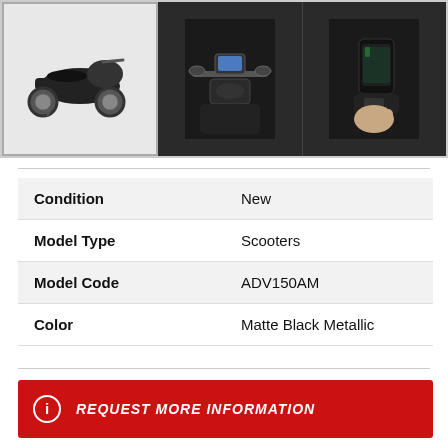[Figure (photo): Honda ADV150 scooter product gallery showing three images: main image of full scooter in matte black, center image of handlebars/dashboard view, right image of USB charging port with phone]
| Attribute | Value |
| --- | --- |
| Condition | New |
| Model Type | Scooters |
| Model Code | ADV150AM |
| Color | Matte Black Metallic |
REQUEST MORE INFORMATION
APPLY FOR FINANCING
CALCULATE PAYMENT